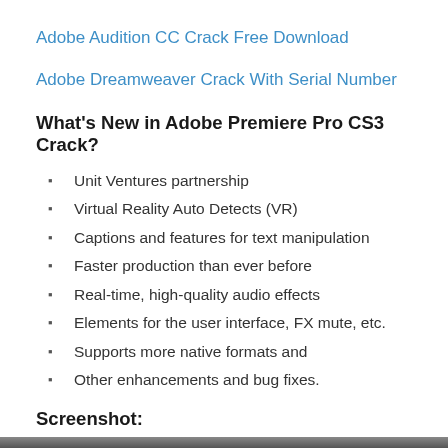Adobe Audition CC Crack Free Download
Adobe Dreamweaver Crack With Serial Number
What's New in Adobe Premiere Pro CS3 Crack?
Unit Ventures partnership
Virtual Reality Auto Detects (VR)
Captions and features for text manipulation
Faster production than ever before
Real-time, high-quality audio effects
Elements for the user interface, FX mute, etc.
Supports more native formats and
Other enhancements and bug fixes.
Screenshot:
[Figure (screenshot): Dark bar at bottom indicating a screenshot image]